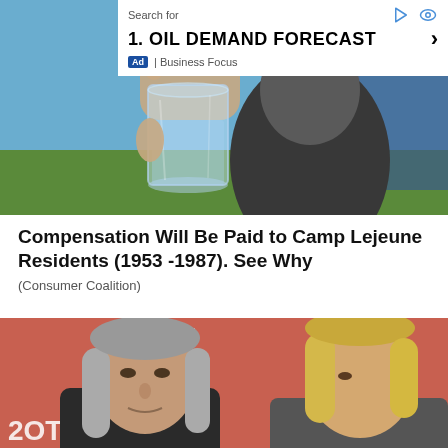[Figure (photo): A hand holding a clear glass of water outdoors, with a man in a dark hoodie visible in the background against a blue sky and green grass]
[Figure (screenshot): Advertisement overlay showing 'Search for' header with icons, item 1: OIL DEMAND FORECAST with chevron, Ad badge and Business Focus label]
Compensation Will Be Paid to Camp Lejeune Residents (1953 -1987). See Why
(Consumer Coalition)
[Figure (photo): An older man with long gray hair and a woman with blonde hair at what appears to be a red-carpet event, with partial text visible including 'VALOR' and 'DET M']